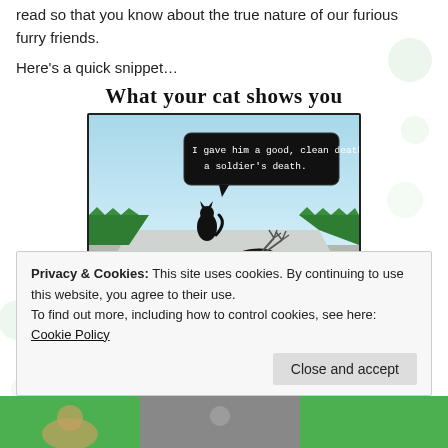read so that you know about the true nature of our furious furry friends.
Here's a quick snippet…
[Figure (illustration): Comic panel titled 'What your cat shows you'. A black cat stands on a patio near a dead bird lying on its back with feet up. A speech bubble from the cat reads: 'I gave him a good, clean death; a soldier's death.']
Privacy & Cookies: This site uses cookies. By continuing to use this website, you agree to their use.
To find out more, including how to control cookies, see here: Cookie Policy
Close and accept